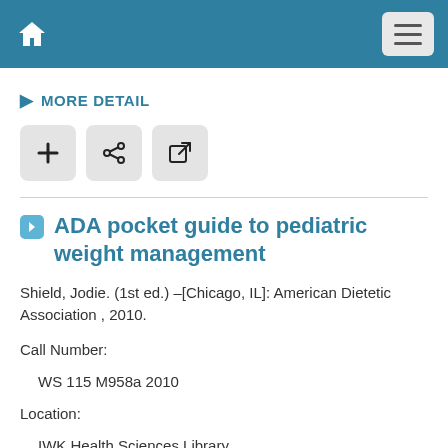Navigation bar with home icon and menu button
MORE DETAIL
[Figure (other): Three action buttons: add (+), share (<), and external link icons]
ADA pocket guide to pediatric weight management
Shield, Jodie. (1st ed.) –[Chicago, IL]: American Dietetic Association , 2010.
Call Number:
WS 115 M958a 2010
Location:
IWK Health Sciences Library